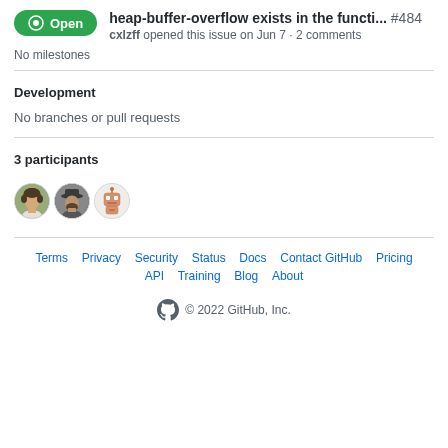heap-buffer-overflow exists in the functi... #484 — cxlzff opened this issue on Jun 7 · 2 comments
No milestones
Development
No branches or pull requests
3 participants
[Figure (illustration): Three participant avatars: a person with curly hair, a person wearing a hat, and a robot/bot icon]
Terms · Privacy · Security · Status · Docs · Contact GitHub · Pricing · API · Training · Blog · About · © 2022 GitHub, Inc.